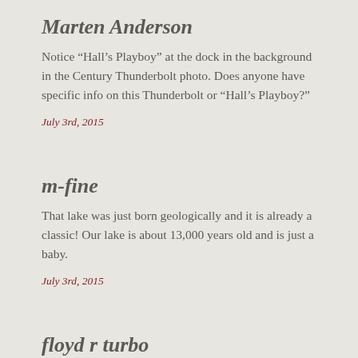Marten Anderson
Notice “Hall’s Playboy” at the dock in the background in the Century Thunderbolt photo. Does anyone have specific info on this Thunderbolt or “Hall’s Playboy?”
July 3rd, 2015
m-fine
That lake was just born geologically and it is already a classic! Our lake is about 13,000 years old and is just a baby.
July 3rd, 2015
floyd r turbo
The Mathis Dam finished in 1915 by Georgia Power created Lake Rabun, one of a series of dams creating also Lake Burton, Lake Seed, and Lake Tallulah. Burton is lowered during the winter to control possible winter/spring water flow from heavy rains. The